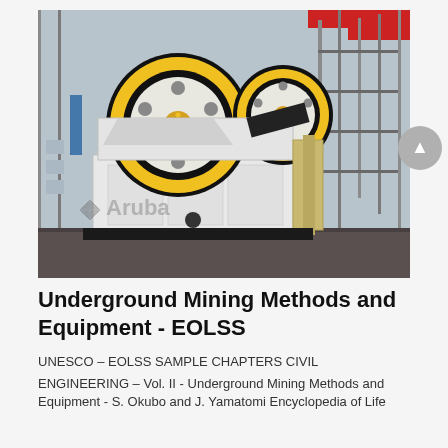[Figure (photo): Photograph of a large jaw crusher machine (mining/crushing equipment) with large yellow and black flywheels, white body, in an industrial factory setting with overhead crane visible in background]
Underground Mining Methods and Equipment - EOLSS
UNESCO – EOLSS SAMPLE CHAPTERS CIVIL
ENGINEERING – Vol. II - Underground Mining Methods and Equipment - S. Okubo and J. Yamatomi Encyclopedia of Life